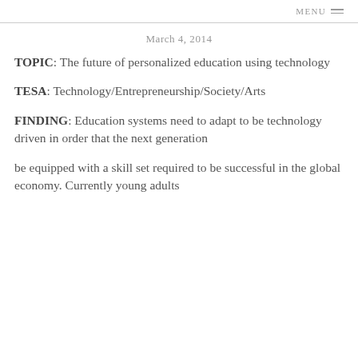MENU
March 4, 2014
TOPIC: The future of personalized education using technology
TESA: Technology/Entrepreneurship/Society/Arts
FINDING: Education systems need to adapt to be technology driven in order that the next generation be equipped with a skill set required to be successful in the global economy. Currently young adults